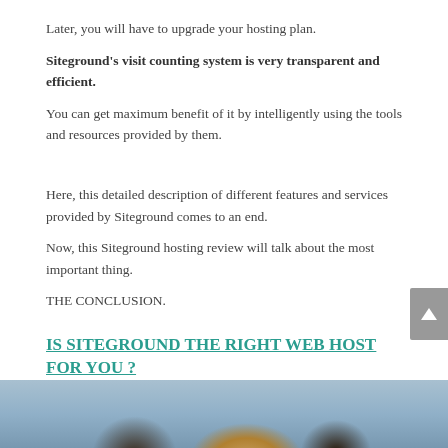Later, you will have to upgrade your hosting plan.
Siteground's visit counting system is very transparent and efficient.
You can get maximum benefit of it by intelligently using the tools and resources provided by them.
Here, this detailed description of different features and services provided by Siteground comes to an end.
Now, this Siteground hosting review will talk about the most important thing.
THE CONCLUSION.
IS SITEGROUND THE RIGHT WEB HOST FOR YOU ?
[Figure (photo): Photo of people, partially visible at the bottom of the page]